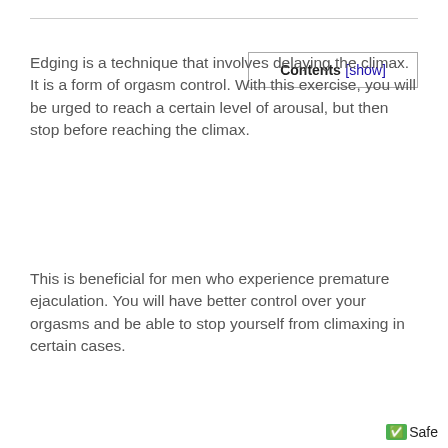Edging is a technique that involves delaying the climax. It is a form of orgasm control. With this exercise, you will be urged to reach a certain level of arousal, but then stop before reaching the climax.
Contents [show]
This is beneficial for men who experience premature ejaculation. You will have better control over your orgasms and be able to stop yourself from climaxing in certain cases.
✅Safe